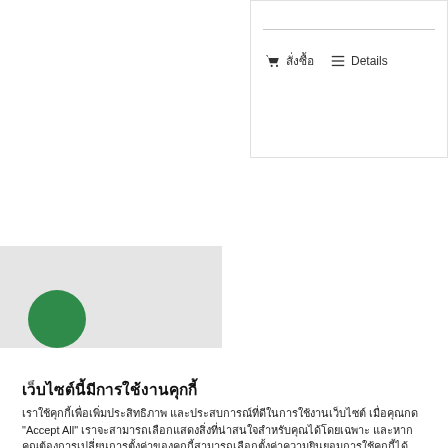[Figure (screenshot): Top right card with a horizontal line, cart icon with Thai text สั่งซื้อ and a details icon with text Details]
[Figure (screenshot): Top left grey image area with a green semicircle visible at the bottom]
เว็บไซต์นี้มีการใช้งานคุกกี้
เราใช้คุกกี้เพื่อเพิ่มประสิทธิภาพ และประสบการณ์ที่ดีในการใช้งานเว็บไซต์ เมื่อคุณกด "Accept All" เราจะสามารถเลือกแสดงสิ่งที่น่าสนใจสำหรับคุณได้โดยเฉพาะ และหากคุณต้องการเปลี่ยนการตั้งค่าของคุกกี้สามารถเลือกตั้งค่าความยินยอมการใช้คุกกี้ได้ โดยคลิก "Cookie Settings"
อ่านนโยบายคุกกี้เพิ่มเติม
ศูนย์การตั้งค่าคุกกี้
ยอมรับทั้งหมด